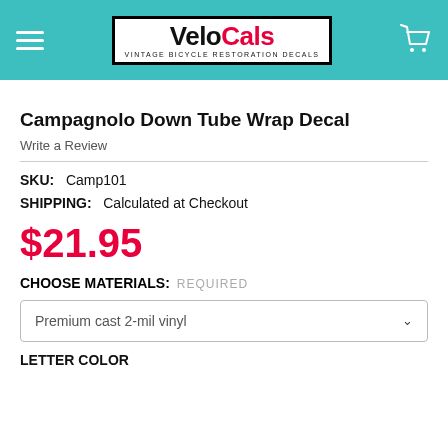VeloCals — Vintage Bicycle Restoration Decals
Campagnolo Down Tube Wrap Decal
Write a Review
SKU:   Camp101
SHIPPING:   Calculated at Checkout
$21.95
CHOOSE MATERIALS:   REQUIRED
Premium cast 2-mil vinyl
LETTER COLOR